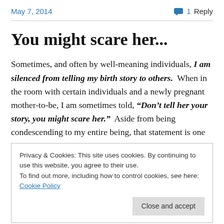May 7, 2014   1 Reply
You might scare her...
Sometimes, and often by well-meaning individuals, I am silenced from telling my birth story to others.  When in the room with certain individuals and a newly pregnant mother-to-be, I am sometimes told, “Don’t tell her your story, you might scare her.”  Aside from being condescending to my entire being, that statement is one
Privacy & Cookies: This site uses cookies. By continuing to use this website, you agree to their use.
To find out more, including how to control cookies, see here: Cookie Policy
Close and accept
result of childbirth for me, and, potentially, could be a